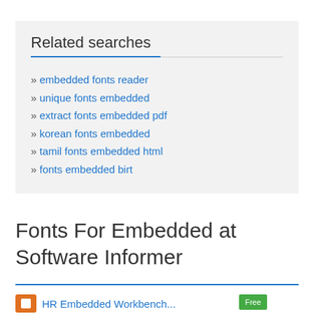Related searches
embedded fonts reader
unique fonts embedded
extract fonts embedded pdf
korean fonts embedded
tamil fonts embedded html
fonts embedded birt
Fonts For Embedded at Software Informer
[Figure (logo): Orange square icon and green badge icon at bottom of page]